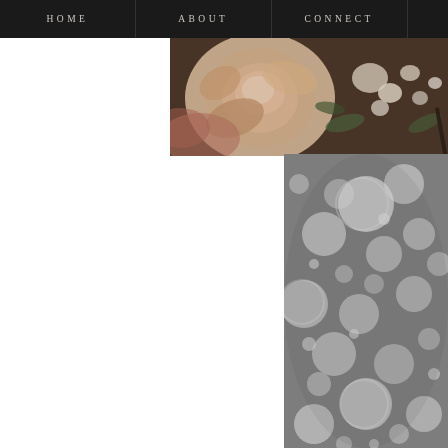HOME   ABOUT   CONNECT
[Figure (photo): Close-up photo of soft pink and cream roses with baby's breath and greenery, partially cropped, occupying top-right area of the page]
[Figure (photo): Black and white bokeh photograph showing blurred circular light reflections, occupying bottom-right area of the page]